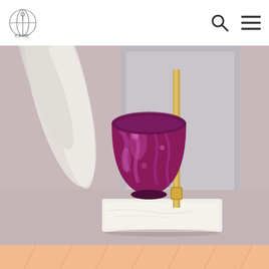Logo and navigation icons (search, menu)
[Figure (photo): Close-up photo of a decorative purple mercury glass lamp on a white marble base with a gold rod, surrounded by soft feathers in a light mauve room setting.]
Gadgets – TechCrunch
The Mevo Start 3-pack with the Mevo Multicam App three-camera kit costs $999. Add some good lights and a half-decent microphone, and you have a …
Get Price
[Figure (photo): Bottom strip showing a partial warm peach/orange toned image, likely another product photo partially visible.]